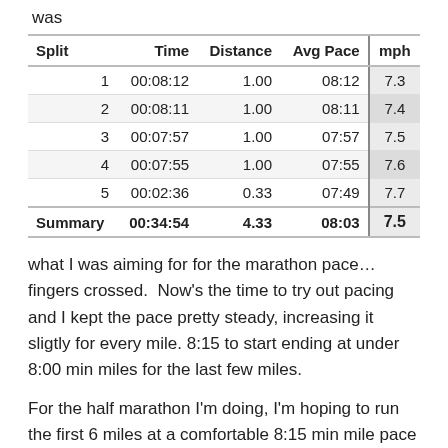was
| Split | Time | Distance | Avg Pace | mph |
| --- | --- | --- | --- | --- |
| 1 | 00:08:12 | 1.00 | 08:12 | 7.3 |
| 2 | 00:08:11 | 1.00 | 08:11 | 7.4 |
| 3 | 00:07:57 | 1.00 | 07:57 | 7.5 |
| 4 | 00:07:55 | 1.00 | 07:55 | 7.6 |
| 5 | 00:02:36 | 0.33 | 07:49 | 7.7 |
| Summary | 00:34:54 | 4.33 | 08:03 | 7.5 |
what I was aiming for for the marathon pace… fingers crossed.  Now's the time to try out pacing and I kept the pace pretty steady, increasing it sligtly for every mile. 8:15 to start ending at under 8:00 min miles for the last few miles.
For the half marathon I'm doing, I'm hoping to run the first 6 miles at a comfortable 8:15 min mile pace (7.3mph),